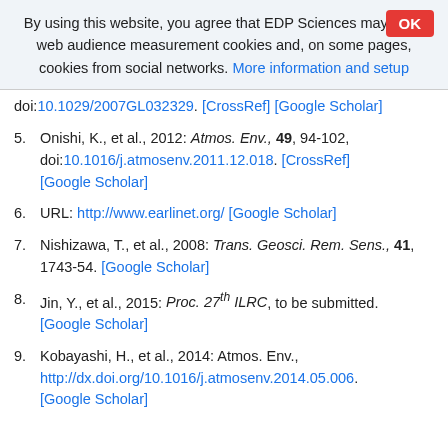By using this website, you agree that EDP Sciences may store web audience measurement cookies and, on some pages, cookies from social networks. More information and setup
doi:10.1029/2007GL032329. [CrossRef] [Google Scholar]
5. Onishi, K., et al., 2012: Atmos. Env., 49, 94-102, doi:10.1016/j.atmosenv.2011.12.018. [CrossRef] [Google Scholar]
6. URL: http://www.earlinet.org/ [Google Scholar]
7. Nishizawa, T., et al., 2008: Trans. Geosci. Rem. Sens., 41, 1743-54. [Google Scholar]
8. Jin, Y., et al., 2015: Proc. 27th ILRC, to be submitted. [Google Scholar]
9. Kobayashi, H., et al., 2014: Atmos. Env., http://dx.doi.org/10.1016/j.atmosenv.2014.05.006. [Google Scholar]